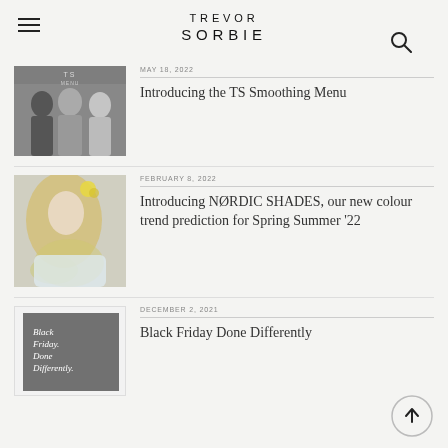TREVOR SORBIE
MAY 18, 2022 — Introducing the TS Smoothing Menu
FEBRUARY 8, 2022 — Introducing NØRDIC SHADES, our new colour trend prediction for Spring Summer '22
DECEMBER 2, 2021 — Black Friday Done Differently